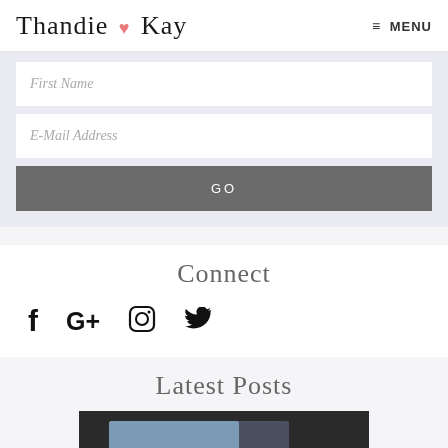Thandie ♥ Kay   ≡ MENU
[Figure (other): Email signup form with First Name and E-Mail Address fields and a GO button on a light lavender background]
Connect
[Figure (other): Social media icons: Facebook, Google+, Instagram, Twitter]
Latest Posts
[Figure (photo): Close-up photo of hands, one hand appearing to hold or touch another person's arm, dark background]